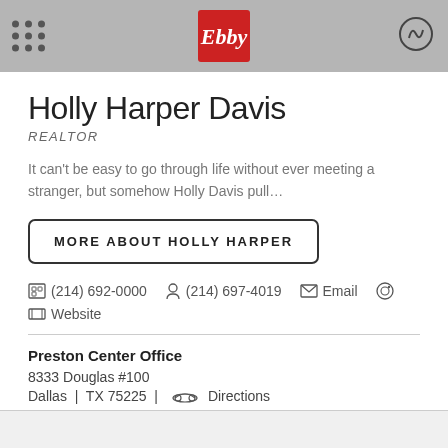Ebby Halliday logo header
Holly Harper Davis
REALTOR
It can't be easy to go through life without ever meeting a stranger, but somehow Holly Davis pull…
MORE ABOUT HOLLY HARPER
(214) 692-0000  (214) 697-4019  Email  Website
Preston Center Office
8333 Douglas #100
Dallas | TX 75225 | Directions